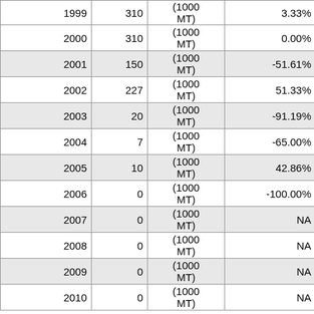| Year | Value | Unit | % Change |
| --- | --- | --- | --- |
| 1999 | 310 | (1000 MT) | 3.33% |
| 2000 | 310 | (1000 MT) | 0.00% |
| 2001 | 150 | (1000 MT) | -51.61% |
| 2002 | 227 | (1000 MT) | 51.33% |
| 2003 | 20 | (1000 MT) | -91.19% |
| 2004 | 7 | (1000 MT) | -65.00% |
| 2005 | 10 | (1000 MT) | 42.86% |
| 2006 | 0 | (1000 MT) | -100.00% |
| 2007 | 0 | (1000 MT) | NA |
| 2008 | 0 | (1000 MT) | NA |
| 2009 | 0 | (1000 MT) | NA |
| 2010 | 0 | (1000 MT) | NA |